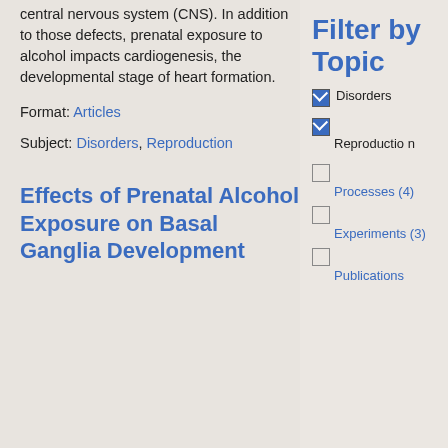central nervous system (CNS). In addition to those defects, prenatal exposure to alcohol impacts cardiogenesis, the developmental stage of heart formation.
Format: Articles
Subject: Disorders, Reproduction
Effects of Prenatal Alcohol Exposure on Basal Ganglia Development
Filter by Topic
Disorders (checked)
Reproduction (checked)
Processes (4) (unchecked)
Experiments (3) (unchecked)
Publications (unchecked)